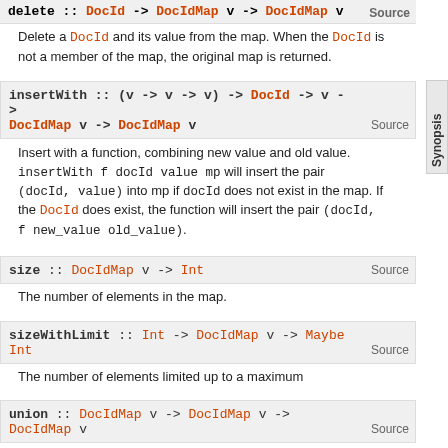delete :: DocId -> DocIdMap v -> DocIdMap v
Delete a DocId and its value from the map. When the DocId is not a member of the map, the original map is returned.
insertWith :: (v -> v -> v) -> DocId -> v -> DocIdMap v -> DocIdMap v
Insert with a function, combining new value and old value. insertWith f docId value mp will insert the pair (docId, value) into mp if docId does not exist in the map. If the DocId does exist, the function will insert the pair (docId, f new_value old_value).
size :: DocIdMap v -> Int
The number of elements in the map.
sizeWithLimit :: Int -> DocIdMap v -> Maybe Int
The number of elements limited up to a maximum
union :: DocIdMap v -> DocIdMap v -> DocIdMap v
The (left-biased) union of two maps. It prefers the first